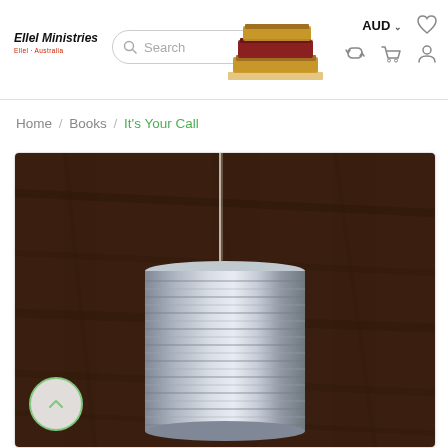[Figure (logo): Ellel Ministries logo with red subtitle text]
[Figure (screenshot): Search bar with magnifying glass icon and 'Search' placeholder text]
[Figure (illustration): Stack of books decoration in header area]
[Figure (infographic): Navigation icons: AUD currency selector, heart/wishlist, refresh, shopping cart, user account]
Home / Books / It's Your Call
[Figure (photo): Product image: tin can telephone with string, dark brown wooden background]